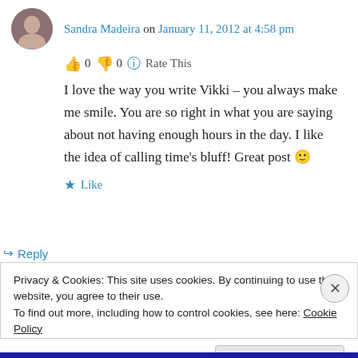Sandra Madeira on January 11, 2012 at 4:58 pm
👍 0 👎 0 ℹ Rate This
I love the way you write Vikki – you always make me smile. You are so right in what you are saying about not having enough hours in the day. I like the idea of calling time's bluff! Great post 🙂
★ Like
↪ Reply
Privacy & Cookies: This site uses cookies. By continuing to use this website, you agree to their use.
To find out more, including how to control cookies, see here: Cookie Policy
Close and accept